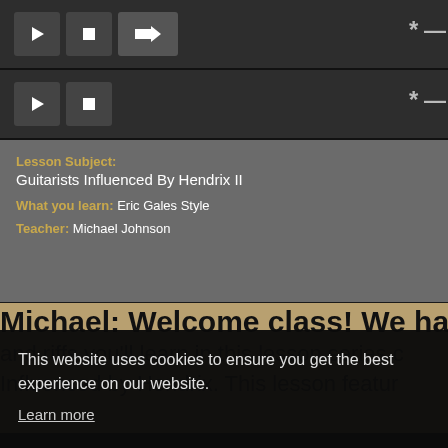[Figure (screenshot): Top toolbar with play, stop, and arrow buttons on dark background, with tuning icon on right]
[Figure (screenshot): Second toolbar row identical to the first with play, stop buttons and tuning icon]
Lesson Subject: Guitarists Influenced By Hendrix II
What you learn: Eric Gales Style
Teacher: Michael Johnson
Michael: Welcome class! We have some and riffs you'll learn in this lesson series c Influenced by Hendrix. This lesson featur
This website uses cookies to ensure you get the best experience on our website.
Learn more
There are no ratings yet
Got it!
Support   About Us   Discuss   Contact Us   Teachin   Win red
Copyright (c) 2022 Riff Interactive   T